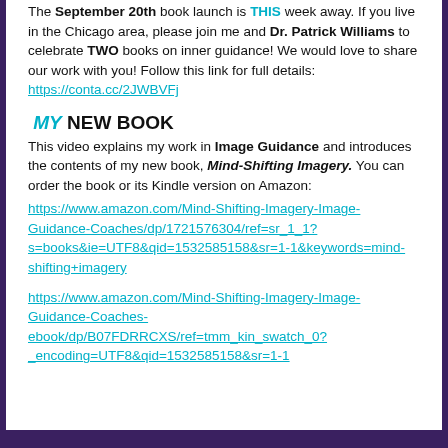The September 20th book launch is THIS week away. If you live in the Chicago area, please join me and Dr. Patrick Williams to celebrate TWO books on inner guidance! We would love to share our work with you! Follow this link for full details: https://conta.cc/2JWBVFj
MY NEW BOOK
This video explains my work in Image Guidance and introduces the contents of my new book, Mind-Shifting Imagery. You can order the book or its Kindle version on Amazon:
https://www.amazon.com/Mind-Shifting-Imagery-Image-Guidance-Coaches/dp/1721576304/ref=sr_1_1?s=books&ie=UTF8&qid=1532585158&sr=1-1&keywords=mind-shifting+imagery

https://www.amazon.com/Mind-Shifting-Imagery-Image-Guidance-Coaches-ebook/dp/B07FDRRCXS/ref=tmm_kin_swatch_0?_encoding=UTF8&qid=1532585158&sr=1-1